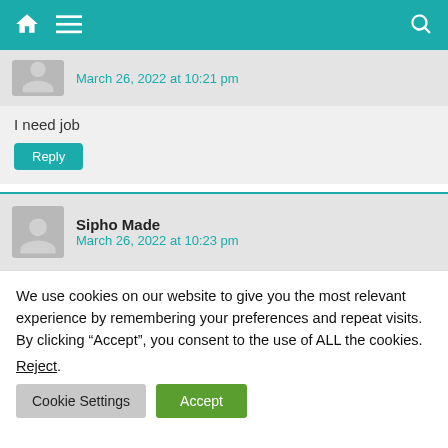Navigation bar with home, menu, and search icons
March 26, 2022 at 10:21 pm
I need job
Reply
Sipho Made
March 26, 2022 at 10:23 pm
We use cookies on our website to give you the most relevant experience by remembering your preferences and repeat visits. By clicking “Accept”, you consent to the use of ALL the cookies.
Reject.
Cookie Settings
Accept